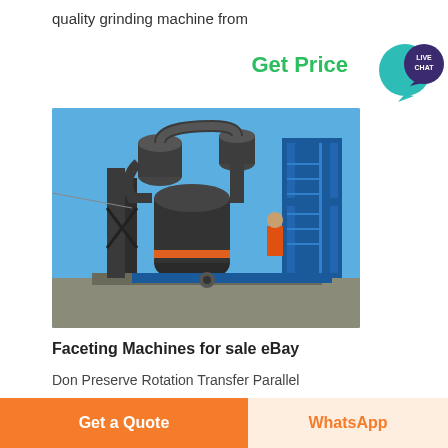quality grinding machine from
Get Price
[Figure (photo): Industrial grinding/milling machine with cylindrical towers, pipes, and blue structural frame photographed outdoors against a blue sky.]
Faceting Machines for sale eBay
Don Preserve Rotation Transfer Parallel
Get a Quote
WhatsApp